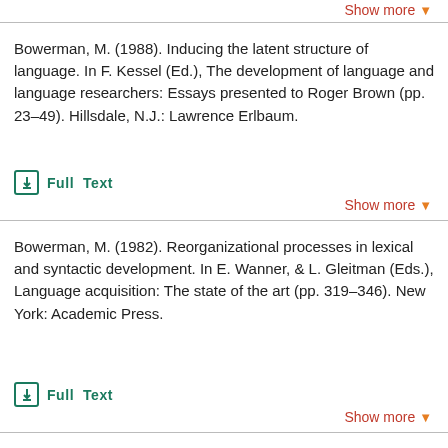Show more
Bowerman, M. (1988). Inducing the latent structure of language. In F. Kessel (Ed.), The development of language and language researchers: Essays presented to Roger Brown (pp. 23–49). Hillsdale, N.J.: Lawrence Erlbaum.
Full Text
Show more
Bowerman, M. (1982). Reorganizational processes in lexical and syntactic development. In E. Wanner, & L. Gleitman (Eds.), Language acquisition: The state of the art (pp. 319–346). New York: Academic Press.
Full Text
Show more